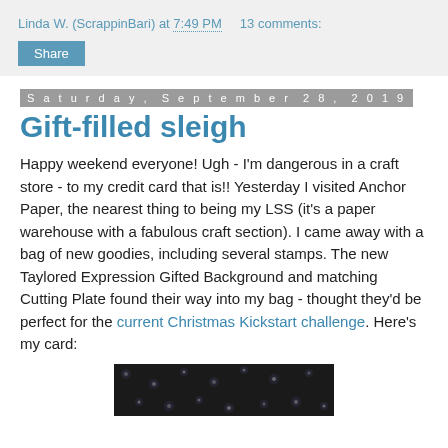Linda W. (ScrappinBari) at 7:49 PM    13 comments:
Share
Saturday, September 28, 2019
Gift-filled sleigh
Happy weekend everyone! Ugh - I'm dangerous in a craft store - to my credit card that is!! Yesterday I visited Anchor Paper, the nearest thing to being my LSS (it's a paper warehouse with a fabulous craft section). I came away with a bag of new goodies, including several stamps. The new Taylored Expression Gifted Background and matching Cutting Plate found their way into my bag - thought they'd be perfect for the current Christmas Kickstart challenge. Here's my card:
[Figure (photo): Partial view of a Christmas card with dark background featuring snowflake pattern]